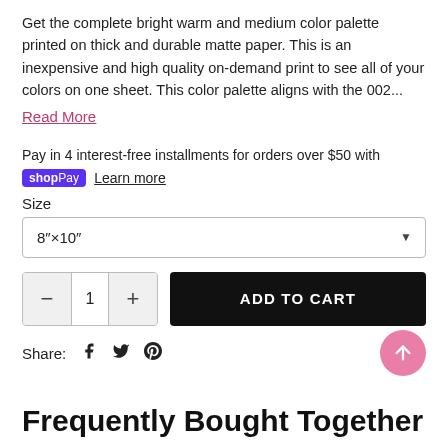Get the complete bright warm and medium color palette printed on thick and durable matte paper. This is an inexpensive and high quality on-demand print to see all of your colors on one sheet. This color palette aligns with the 002...
Read More
Pay in 4 interest-free installments for orders over $50 with shopPay  Learn more
Size
8"×10"
ADD TO CART
Share:
Frequently Bought Together